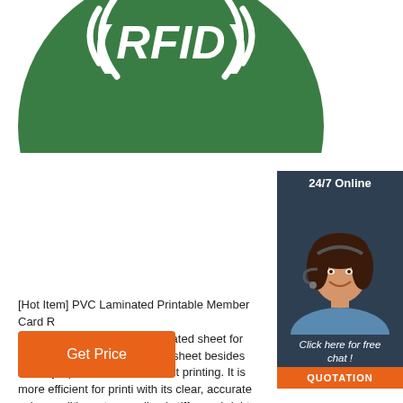[Figure (photo): Green circular RFID token/tag with white RFID text and signal wave graphics on top portion of page]
[Figure (photo): 24/7 Online customer service chat widget showing a smiling woman with headset, 'Click here for free chat!' text, and orange QUOTATION button]
[Hot Item] PVC Laminated Printable Member Card R 2021-9-12u2002·u2002Laminated sheet for laser pr printing for laminated sheet besides the inkjet printi and eco-solvent printing. It is more efficient for printi with its clear, accurate color rendition, strong adhesi stiffness, bright golden color, etc. the laser printing for laminated sheet is very popular now.
[Figure (other): Orange 'Get Price' button at bottom left]
[Figure (other): Orange 'TOP' button with dotted arc at bottom right]